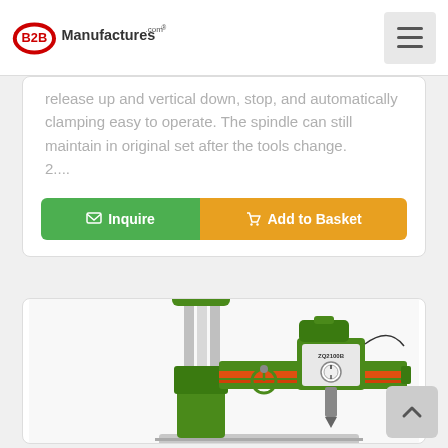B2BManufactures.com
release up and vertical down, stop, and automatically clamping easy to operate. The spindle can still maintain in original set after the tools change.
2....
[Figure (screenshot): Green and orange Inquire and Add to Basket buttons]
[Figure (photo): Green industrial radial drilling machine (ZQ2100B) with vertical column, horizontal arm, control panel with dial, and metal worktable base]